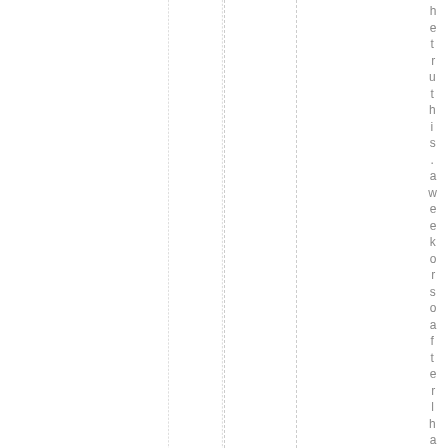hetruthis.aweekorsoafterlhavef